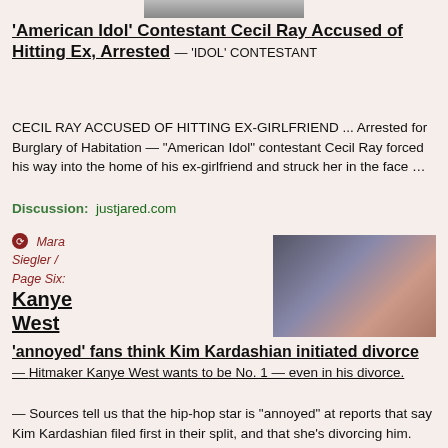[Figure (photo): Partial photo cropped at top of page]
'American Idol' Contestant Cecil Ray Accused of Hitting Ex, Arrested
— 'IDOL' CONTESTANT CECIL RAY ACCUSED OF HITTING EX-GIRLFRIEND ... Arrested for Burglary of Habitation — "American Idol" contestant Cecil Ray forced his way into the home of his ex-girlfriend and struck her in the face …
Discussion: justjared.com
[Figure (photo): Photo of Kanye West and Kim Kardashian side by side]
Mara Siegler / Page Six: Kanye West
'annoyed' fans think Kim Kardashian initiated divorce
— Hitmaker Kanye West wants to be No. 1 — even in his divorce. — Sources tell us that the hip-hop star is "annoyed" at reports that say Kim Kardashian filed first in their split, and that she's divorcing him.